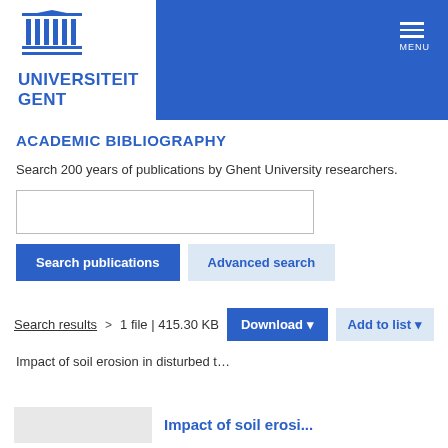[Figure (logo): Universiteit Gent logo with temple/column icon and blue text]
ACADEMIC BIBLIOGRAPHY
Search 200 years of publications by Ghent University researchers.
[Search input box]
Search publications | Advanced search
Search results > 1 file | 415.30 KB  Download ▾  Add to list ▾
Impact of soil erosion in disturbed t…